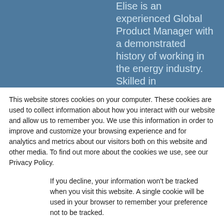[Figure (screenshot): Blue background section showing partial text about a Global Product Manager in the energy industry]
Elise is an experienced Global Product Manager with a demonstrated history of working in the energy industry. Skilled in
This website stores cookies on your computer. These cookies are used to collect information about how you interact with our website and allow us to remember you. We use this information in order to improve and customize your browsing experience and for analytics and metrics about our visitors both on this website and other media. To find out more about the cookies we use, see our Privacy Policy.
If you decline, your information won't be tracked when you visit this website. A single cookie will be used in your browser to remember your preference not to be tracked.
Accept
Decline